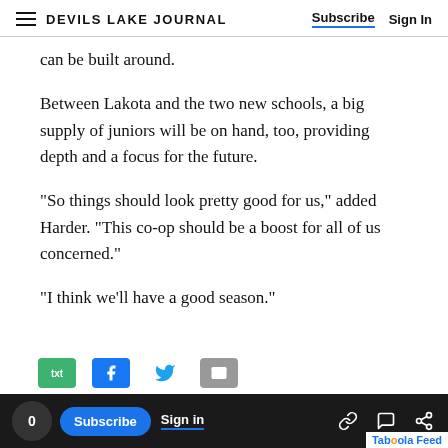DEVILS LAKE JOURNAL | Subscribe | Sign In
can be built around.
Between Lakota and the two new schools, a big supply of juniors will be on hand, too, providing depth and a focus for the future.
“So things should look pretty good for us,” added Harder. “This co-op should be a boost for all of us concerned.”
“I think we’ll have a good season.”